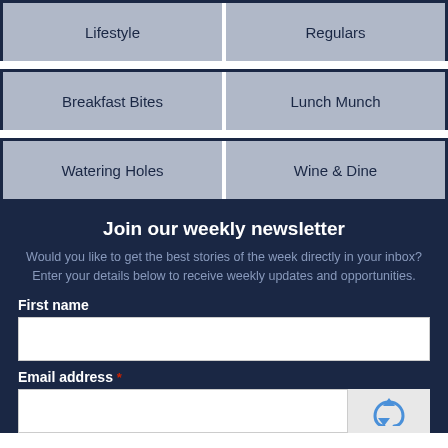| Lifestyle | Regulars |
| Breakfast Bites | Lunch Munch |
| Watering Holes | Wine & Dine |
Join our weekly newsletter
Would you like to get the best stories of the week directly in your inbox? Enter your details below to receive weekly updates and opportunities.
First name
Email address *